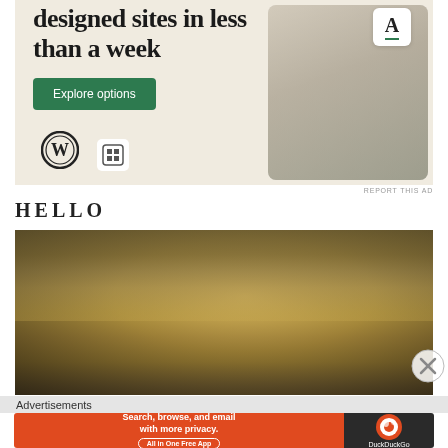[Figure (screenshot): WordPress/Squarespace advertisement showing 'designed sites in less than a week' with Explore options button, WordPress logo, and website mockup screenshots on a beige background]
REPORT THIS AD
HELLO
[Figure (photo): Close-up photo of the top of a person's head showing blonde hair against a dark background]
[Figure (infographic): DuckDuckGo advertisement: Search, browse, and email with more privacy. All in One Free App — with DuckDuckGo logo on dark background]
Advertisements